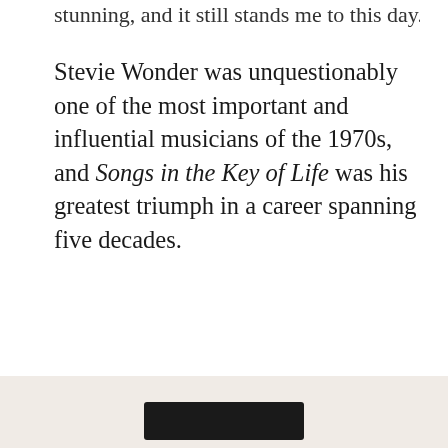stunning, and it still stands me to this day. (Wikipedia)
Stevie Wonder was unquestionably one of the most important and influential musicians of the 1970s, and Songs in the Key of Life was his greatest triumph in a career spanning five decades.
Share this:
Loading...